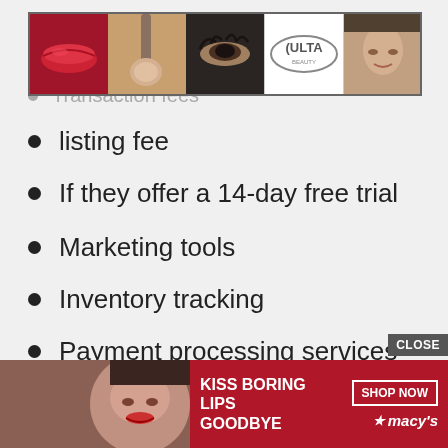[Figure (photo): Ulta Beauty advertisement banner with makeup photos (lips, brush, eyes, Ulta logo, woman's face) and SHOP NOW text]
Transaction fees
listing fee
If they offer a 14-day free trial
Marketing tools
Inventory tracking
Payment processing services
Offer Google shopping ads
Order management
[Figure (photo): Macy's advertisement banner with woman's face, 'KISS BORING LIPS GOODBYE' text, SHOP NOW button, and Macy's star logo]